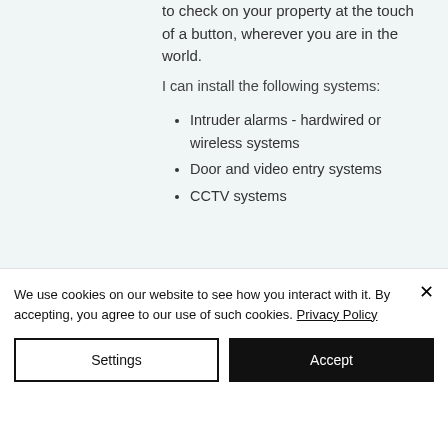to check on your property at the touch of a button, wherever you are in the world.
I can install the following systems:
Intruder alarms - hardwired or wireless systems
Door and video entry systems
CCTV systems
We use cookies on our website to see how you interact with it. By accepting, you agree to our use of such cookies. Privacy Policy
Settings
Accept